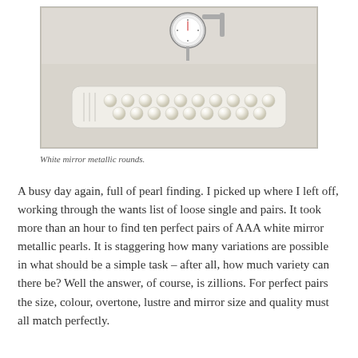[Figure (photo): Photograph of a row of white mirror metallic round pearls arranged on a tray/card, with a dial gauge instrument visible at the top of the image.]
White mirror metallic rounds.
A busy day again, full of pearl finding. I picked up where I left off, working through the wants list of loose single and pairs. It took more than an hour to find ten perfect pairs of AAA white mirror metallic pearls. It is staggering how many variations are possible in what should be a simple task – after all, how much variety can there be? Well the answer, of course, is zillions. For perfect pairs the size, colour, overtone, lustre and mirror size and quality must all match perfectly.